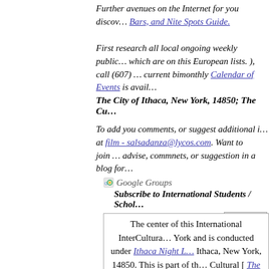Further avenues on the Internet for you discov… Bars, and Nite Spots Guide.
First research all local ongoing weekly public… which are on this European lists. ), call (607)… current bimonthly Calendar of Events is avail…
The City of Ithaca, New York, 14850; The Cu…
To add you comments, or suggest additional i… at film - salsadanza@lycos.com. Want to join… advise, commnets, or suggestion in a blog for…
[Figure (other): Google Groups subscription widget with email input and Subscribe button, and Visit link]
The center of this International InterCultura… York and is conducted under Ithaca Night L… Ithaca, New York, 14850. This is part of th… Cultural [ The Arts and Entertainment / Onli… within the Tri-State region…